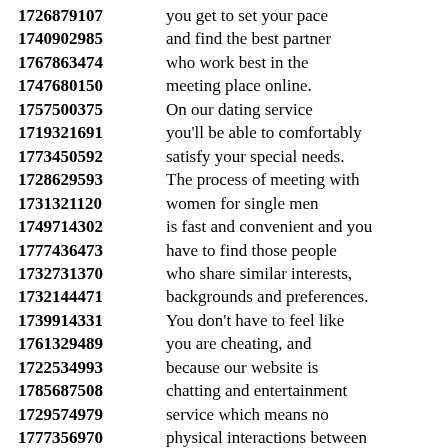1726879107 you get to set your pace
1740902985 and find the best partner
1767863474 who work best in the
1747680150 meeting place online.
1757500375 On our dating service
1719321691 you'll be able to comfortably
1773450592 satisfy your special needs.
1728629593 The process of meeting with
1731321120 women for single men
1749714302 is fast and convenient and you
1777436473 have to find those people
1732731370 who share similar interests,
1732144471 backgrounds and preferences.
1739914331 You don't have to feel like
1761329489 you are cheating, and
1722534993 because our website is
1785687508 chatting and entertainment
1729574979 service which means no
1777356970 physical interactions between
1764521449 men and women online.
1788478205 You get to have some
1794373537 different types of security
1763915850 because you will be chatting
1754385358 from the safety of home.
1748668820